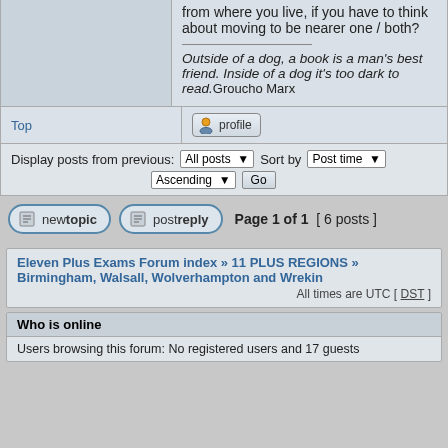from where you live, if you have to think about moving to be nearer one / both?
Outside of a dog, a book is a man's best friend. Inside of a dog it's too dark to read. Groucho Marx
Top
profile
Display posts from previous: All posts  Sort by Post time  Ascending  Go
new topic   post reply   Page 1 of 1  [ 6 posts ]
Eleven Plus Exams Forum index » 11 PLUS REGIONS » Birmingham, Walsall, Wolverhampton and Wrekin   All times are UTC [ DST ]
Who is online
Users browsing this forum: No registered users and 17 guests